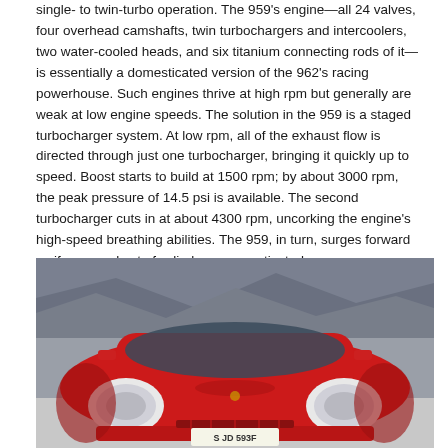single- to twin-turbo operation. The 959's engine—all 24 valves, four overhead camshafts, twin turbochargers and intercoolers, two water-cooled heads, and six titanium connecting rods of it—is essentially a domesticated version of the 962's racing powerhouse. Such engines thrive at high rpm but generally are weak at low engine speeds. The solution in the 959 is a staged turbocharger system. At low rpm, all of the exhaust flow is directed through just one turbocharger, bringing it quickly up to speed. Boost starts to build at 1500 rpm; by about 3000 rpm, the peak pressure of 14.5 psi is available. The second turbocharger cuts in at about 4300 rpm, uncorking the engine's high-speed breathing abilities. The 959, in turn, surges forward as if a second set of cylinders were activated.
[Figure (photo): Front view of a red Porsche 959 sports car photographed outdoors against a rocky background. The car has round headlights, a sleek low hood, and a visible license plate beginning with 'S JD 593F'.]